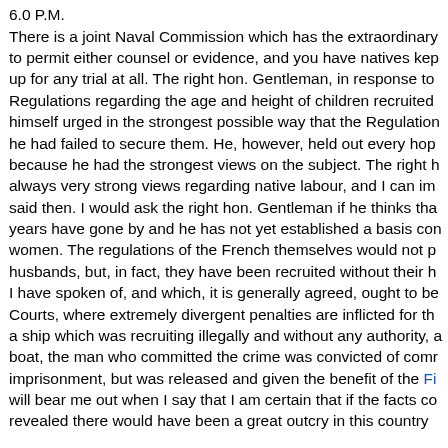6.0 P.M.

There is a joint Naval Commission which has the extraordinary to permit either counsel or evidence, and you have natives kept up for any trial at all. The right hon. Gentleman, in response to Regulations regarding the age and height of children recruited himself urged in the strongest possible way that the Regulation he had failed to secure them. He, however, held out every hop because he had the strongest views on the subject. The right h always very strong views regarding native labour, and I can im said then. I would ask the right hon. Gentleman if he thinks tha years have gone by and he has not yet established a basis con women. The regulations of the French themselves would not p husbands, but, in fact, they have been recruited without their h I have spoken of, and which, it is generally agreed, ought to be Courts, where extremely divergent penalties are inflicted for th a ship which was recruiting illegally and without any authority, a boat, the man who committed the crime was convicted of comr imprisonment, but was released and given the benefit of the Fi will bear me out when I say that I am certain that if the facts co revealed there would have been a great outcry in this country